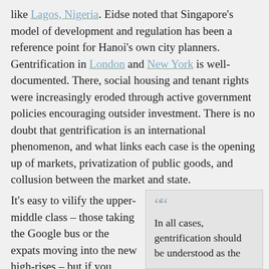like Lagos, Nigeria. Eidse noted that Singapore's model of development and regulation has been a reference point for Hanoi's own city planners. Gentrification in London and New York is well-documented. There, social housing and tenant rights were increasingly eroded through active government policies encouraging outsider investment. There is no doubt that gentrification is an international phenomenon, and what links each case is the opening up of markets, privatization of public goods, and collusion between the market and state.
It's easy to vilify the upper-middle class – those taking the Google bus or the expats moving into the new high-rises – but if you really want
In all cases, gentrification should be understood as the